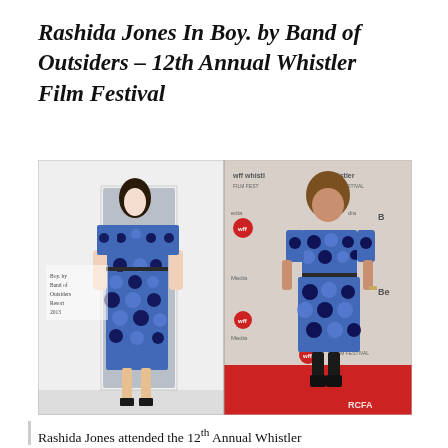Rashida Jones In Boy. by Band of Outsiders – 12th Annual Whistler Film Festival
[Figure (photo): Side-by-side composite image. Left: fashion runway/lookbook photo of a model wearing a blue and black polka dot short-sleeve dress with a thin belt and strappy heels, against a white background, with text overlay reading 'Boy. by Band of Outsiders Resort 2013'. Right: Rashida Jones at the 12th Annual Whistler Film Festival red carpet, wearing the same blue and black polka dot dress with black tights and black heeled boots, in front of the Whistler Film Festival step-and-repeat banner. RCFA watermark visible at bottom right.]
Rashida Jones attended the 12th Annual Whistler